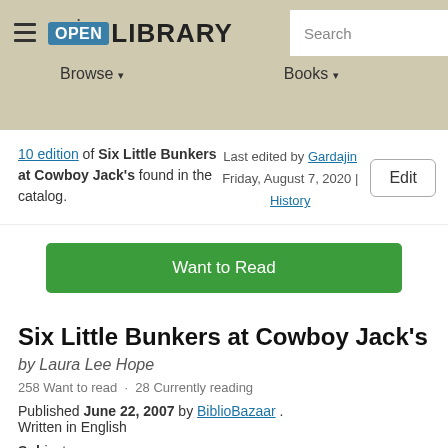Open Library — Browse ▾ Books ▾ Search
10 edition of Six Little Bunkers at Cowboy Jack's found in the catalog.
Last edited by Gardajin
Friday, August 7, 2020 | History
Edit
Want to Read
Six Little Bunkers at Cowboy Jack's
by Laura Lee Hope
258 Want to read · 28 Currently reading
Published June 22, 2007 by BiblioBazaar .
Written in English
Subjects